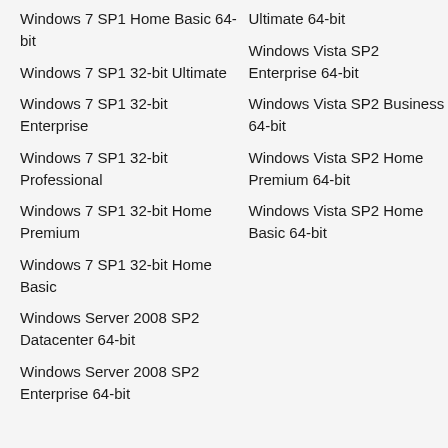Windows 7 SP1 Home Basic 64-bit
Windows 7 SP1 32-bit Ultimate
Windows 7 SP1 32-bit Enterprise
Windows 7 SP1 32-bit Professional
Windows 7 SP1 32-bit Home Premium
Windows 7 SP1 32-bit Home Basic
Windows Server 2008 SP2 Datacenter 64-bit
Windows Server 2008 SP2 Enterprise 64-bit
Ultimate 64-bit
Windows Vista SP2 Enterprise 64-bit
Windows Vista SP2 Business 64-bit
Windows Vista SP2 Home Premium 64-bit
Windows Vista SP2 Home Basic 64-bit